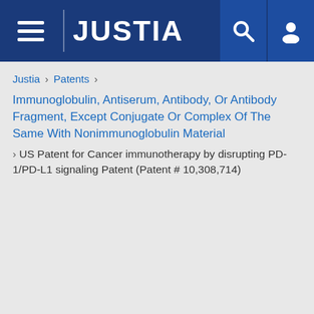JUSTIA
Justia › Patents › Immunoglobulin, Antiserum, Antibody, Or Antibody Fragment, Except Conjugate Or Complex Of The Same With Nonimmunoglobulin Material › US Patent for Cancer immunotherapy by disrupting PD-1/PD-L1 signaling Patent (Patent # 10,308,714)